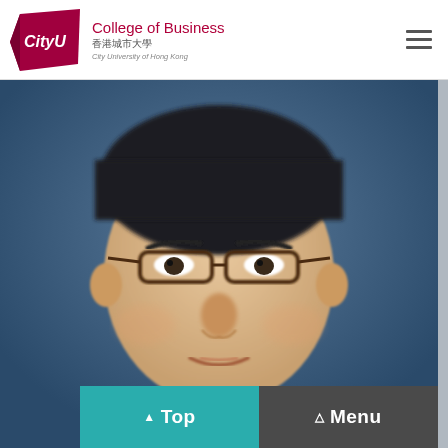[Figure (logo): CityU College of Business logo with red diamond shape and university name in Chinese and English]
College of Business 香港城市大學 City University of Hong Kong
[Figure (photo): Portrait photo of a male faculty member wearing glasses and a dark suit, blurred background]
▲ Top   △ Menu